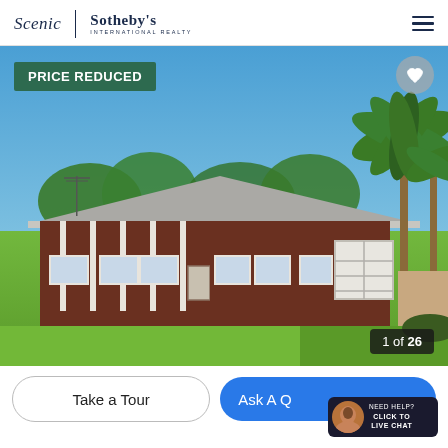Scenic | Sotheby's International Realty
[Figure (photo): Exterior photo of a single-story brick ranch-style house with gray roof, attached garage, front porch columns, and lawn, with palm trees and blue sky in background. Badge overlay reads PRICE REDUCED. Counter reads 1 of 26.]
Take a Tour
Ask A Q[uestion]
NEED HELP? CLICK TO LIVE CHAT